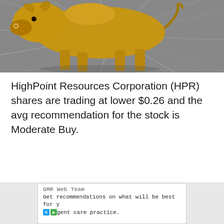[Figure (photo): Close-up photo of the Charging Bull statue (Wall Street bull), a golden-bronze bull sculpture captured from a low angle, with motion-blurred gray pavement in the background.]
HighPoint Resources Corporation (HPR) shares are trading at lower $0.26 and the avg recommendation for the stock is Moderate Buy.
GMR Web Team
Get recommendations on what will be best for y[our] agent care practice.